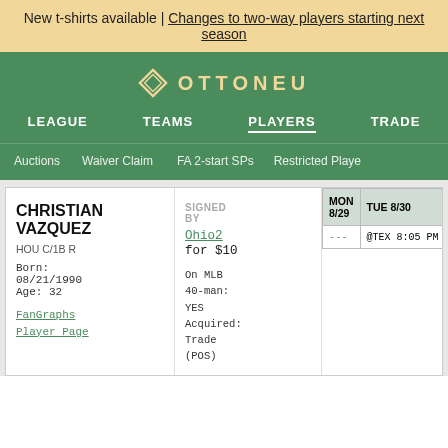New t-shirts available | Changes to two-way players starting next season
[Figure (logo): Ottoneu logo with diamond icon and text OTTONEU on green background]
LEAGUE   TEAMS   PLAYERS   TRADE
Auctions   Waiver Claim   FA 2-start SPs   Restricted Players
CHRISTIAN VAZQUEZ
HOU C/1B R
Born: 08/21/1990
Age: 32
FanGraphs Player Page
SIGNED BY
Ohio2 for $10
On MLB 40-man: YES
Acquired: Trade (POS)
| MON 8/29 | TUE 8/30 | WED 8/31 |
| --- | --- | --- |
| --- | @TEX 8:05 PM EDT | @TEX 2:05 PM E… |